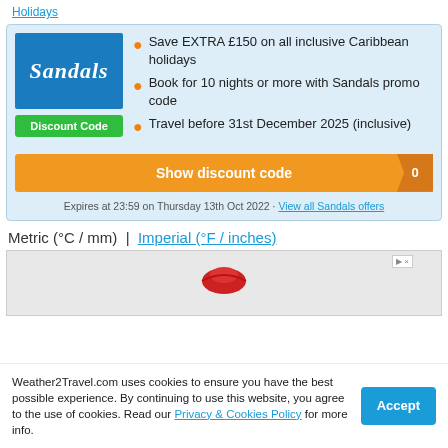Holidays
[Figure (logo): Sandals resort logo — blue box with italic white text 'Sandals', below a green 'Discount Code' button]
Save EXTRA £150 on all inclusive Caribbean holidays
Book for 10 nights or more with Sandals promo code
Travel before 31st December 2025 (inclusive)
Show discount code
Expires at 23:59 on Thursday 13th Oct 2022 · View all Sandals offers
Metric (°C / mm)  |  Imperial (°F / inches)
[Figure (photo): Partial advertisement image showing red lips/flower, with ad badge and close button]
Weather2Travel.com uses cookies to ensure you have the best possible experience. By continuing to use this website, you agree to the use of cookies. Read our Privacy & Cookies Policy for more info.